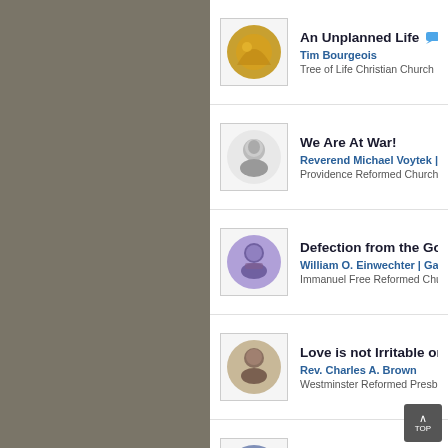[Figure (other): Gray sidebar panel]
An Unplanned Life — Tim Bourgeois, Tree of Life Christian Church
We Are At War! — Reverend Michael Voytek | Pr..., Providence Reformed Church
Defection from the Go... — William O. Einwechter | Galab..., Immanuel Free Reformed Chur...
Love is not Irritable or... — Rev. Charles A. Brown, Westminster Reformed Presb...
The Oath of Fruitfulnes... — Rev. Phil Owen, Berean Free Presbyterian